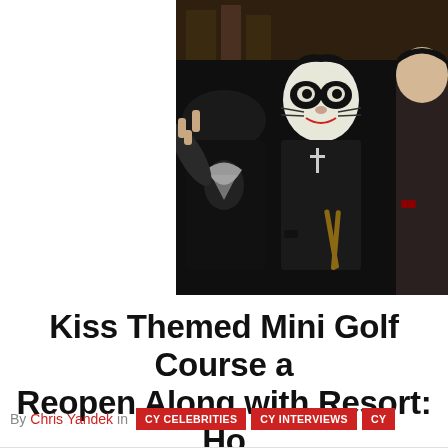[Figure (photo): People dressed in KISS rock band costumes and face paint, wearing black leather outfits. One person has full white face paint with black markings (Catman), another is making a rock hand gesture. Dark indoor background.]
Kiss Themed Mini Golf Course a Reopen Along with Resort: Ho
By Chris Yandek in CY CELEBRITIES  CY INTERVIEWS  CY